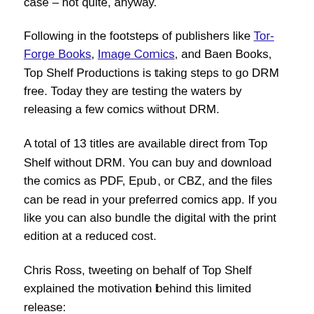publisher Top Shelf Productions had gone DRM-free in their online store, but that is sadly not the case – not quite, anyway.
Following in the footsteps of publishers like Tor-Forge Books, Image Comics, and Baen Books, Top Shelf Productions is taking steps to go DRM free. Today they are testing the waters by releasing a few comics without DRM.
A total of 13 titles are available direct from Top Shelf without DRM. You can buy and download the comics as PDF, Epub, or CBZ, and the files can be read in your preferred comics app. If you like you can also bundle the digital with the print edition at a reduced cost.
Chris Ross, tweeting on behalf of Top Shelf explained the motivation behind this limited release: